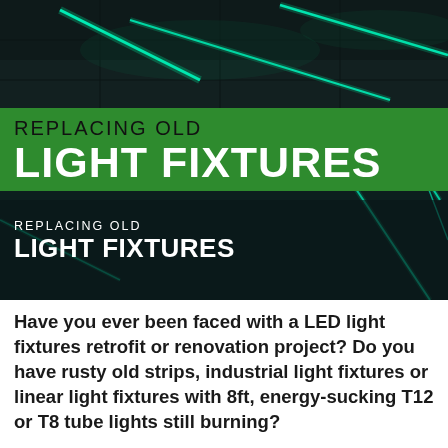[Figure (photo): Dark industrial ceiling with glowing teal/green LED linear light strips arranged at angles, viewed from below in a warehouse or industrial space.]
REPLACING OLD
LIGHT FIXTURES
REPLACING OLD
LIGHT FIXTURES
Have you ever been faced with a LED light fixtures retrofit or renovation project? Do you have rusty old strips, industrial light fixtures or linear light fixtures with 8ft, energy-sucking T12 or T8 tube lights still burning?